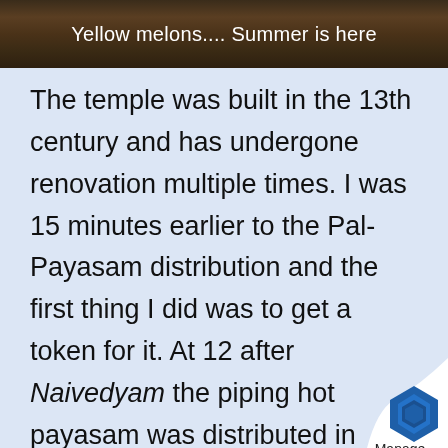[Figure (photo): Dark background image banner with text 'Yellow melons.... Summer is here' in white text centered over what appears to be a dark textured background.]
The temple was built in the 13th century and has undergone renovation multiple times. I was 15 minutes earlier to the Pal-Payasam distribution and the first thing I did was to get a token for it. At 12 after Naivedyam the piping hot payasam was distributed in sealed containers in half and one-liter portions. The lake beside the temple was exactly how I had imagined it to be. Soaking feet in the cold water of the lake was refreshing in that scorching heat. I somehow managed t
[Figure (logo): Page curl effect in bottom-right corner with a blue hexagonal Manage logo and the word 'Manage' beneath it.]